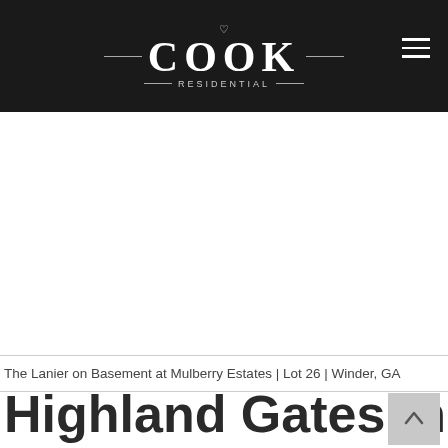[Figure (logo): Cook Residential logo — white serif COOK text with RESIDENTIAL below, decorative lines and small icon, on black background. Hamburger menu icon top-right.]
The Lanier on Basement at Mulberry Estates | Lot 26 | Winder, GA
Highland Gates in